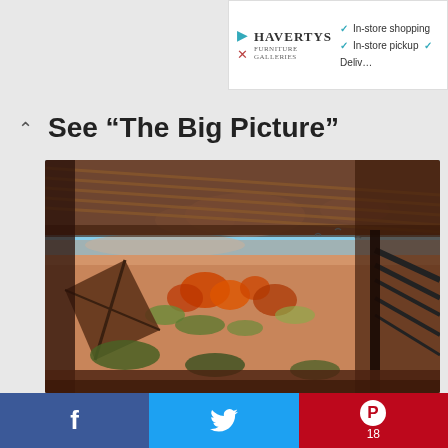[Figure (screenshot): Advertisement banner for Havertys furniture store showing logo with play button icon, checkmarks for In-store shopping, In-store pickup, and Delivery options]
See “The Big Picture”
[Figure (photo): Interior view from a covered wooden structure/walkway looking out over a desert landscape with orange and red wildflowers, scrub brush, blue sky with clouds, and a railing visible on the right side]
[Figure (screenshot): Social sharing bar at the bottom with Facebook (f), Twitter (bird), and Pinterest (P with count 18) buttons]